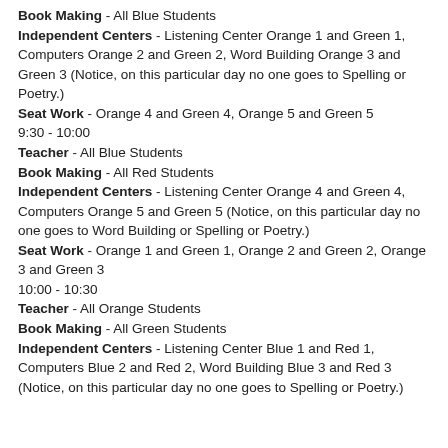Book Making - All Blue Students
Independent Centers - Listening Center Orange 1 and Green 1, Computers Orange 2 and Green 2, Word Building Orange 3 and Green 3 (Notice, on this particular day no one goes to Spelling or Poetry.)
Seat Work - Orange 4 and Green 4, Orange 5 and Green 5
9:30 - 10:00
Teacher - All Blue Students
Book Making - All Red Students
Independent Centers - Listening Center Orange 4 and Green 4, Computers Orange 5 and Green 5 (Notice, on this particular day no one goes to Word Building or Spelling or Poetry.)
Seat Work - Orange 1 and Green 1, Orange 2 and Green 2, Orange 3 and Green 3
10:00 - 10:30
Teacher - All Orange Students
Book Making - All Green Students
Independent Centers - Listening Center Blue 1 and Red 1, Computers Blue 2 and Red 2, Word Building Blue 3 and Red 3 (Notice, on this particular day no one goes to Spelling or Poetry.)